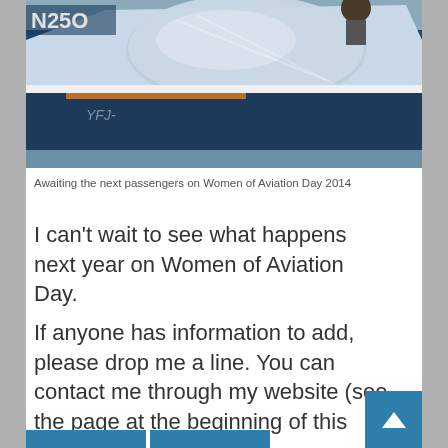[Figure (photo): Close-up photo of a small blue and white aircraft cockpit/fuselage with tail number N250 visible, taken on Women of Aviation Day 2014]
Awaiting the next passengers on Women of Aviation Day 2014
I can't wait to see what happens next year on Women of Aviation Day.
If anyone has information to add, please drop me a line. You can contact me through my website (see the page at the beginning of this blog).